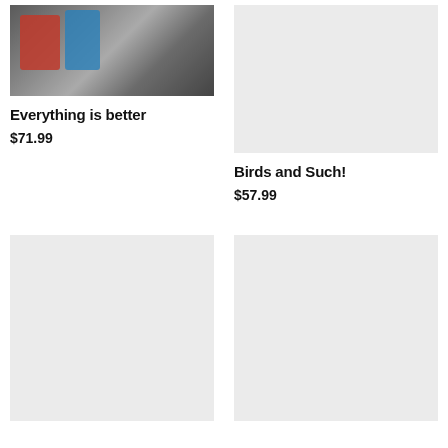[Figure (photo): Gift basket with tomato seeds, cucumber seeds, and Willow seeds packages]
Everything is better
$71.99
[Figure (photo): Placeholder gray image for Birds and Such product]
Birds and Such!
$57.99
[Figure (photo): Placeholder gray image for product]
[Figure (photo): Placeholder gray image for product]